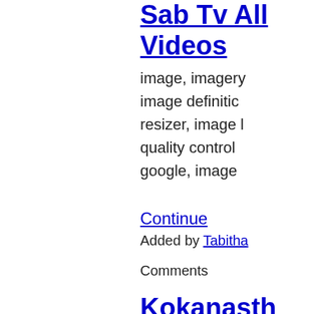Sab Tv All Videos
image, imagery image definition resizer, image quality control google, image
Continue
Added by Tabitha Comments
Kokanasth
kokanastha ma kokanastha ma